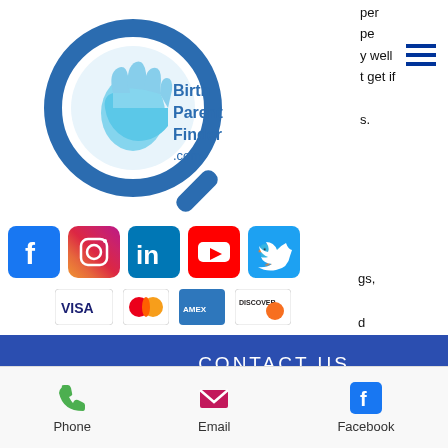[Figure (logo): BirthParentFinder.com logo with magnifying glass and hand icon]
[Figure (infographic): Social media icons: Facebook, Instagram, LinkedIn, YouTube, Twitter]
[Figure (infographic): Payment method icons: Visa, Mastercard, American Express, Discover]
CONTACT US
drugs pose to the individual are far more serious than what they can bring to the people who use them legitimately.
[Figure (infographic): Footer contact bar with Phone, Email, and Facebook icons and labels]